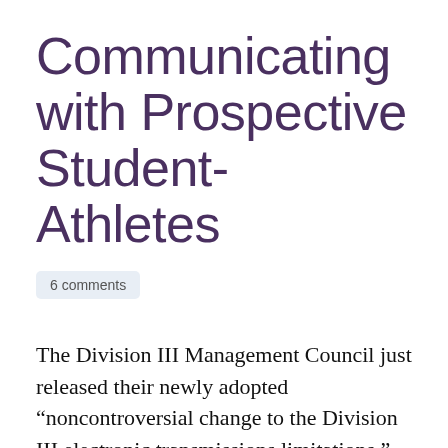Communicating with Prospective Student-Athletes
6 comments
The Division III Management Council just released their newly adopted “noncontroversial change to the Division III electronic transmissions limitations.” They’ve given it a retroactive effective date of August 1, 2008 to match when their original legislation went into effect. They’ve also